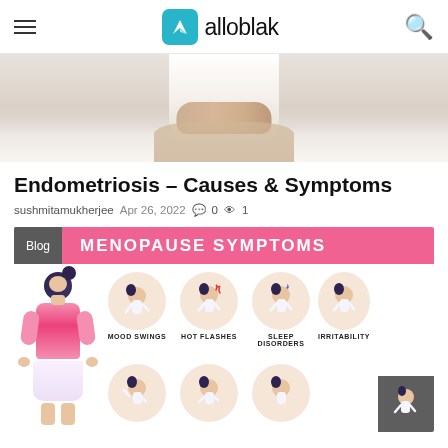alloblak
[Figure (photo): Person sitting on a bed holding their abdomen, visible from torso down, wearing a white top, with white bedding background.]
Endometriosis – Causes & Symptoms
sushmitamukherjee  Apr 26, 2022  0  1
[Figure (infographic): Menopause symptoms infographic with a pink banner header reading 'MENOPAUSE SYMPTOMS' with a 'Blog' badge, showing a central illustration of a woman in a pink top surrounded by circular icons depicting symptoms: Mood Swings, Hot Flashes, Sleep Disorders, Irritability, and more in a second row partially visible.]